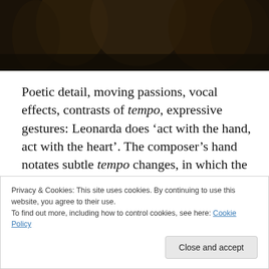[Figure (photo): Dark photograph showing figures, likely musicians or performers, against a dark background]
Poetic detail, moving passions, vocal effects, contrasts of tempo, expressive gestures: Leonarda does ‘act with the hand, act with the heart’. The composer’s hand notates subtle tempo changes, in which the serene movement of the Divine Hand is reflected in the diverse pulse-rates of a lover’s human heart. Violinists’ and continuo-players’
Privacy & Cookies: This site uses cookies. By continuing to use this website, you agree to their use.
To find out more, including how to control cookies, see here: Cookie Policy